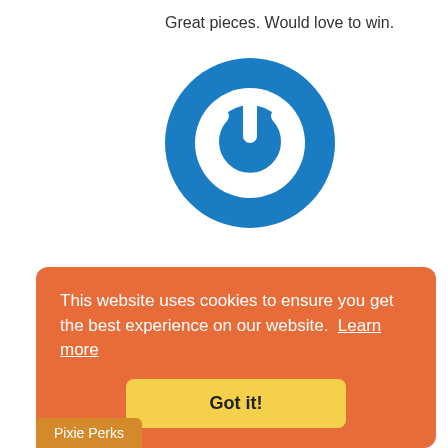Great pieces. Would love to win.
[Figure (logo): Blue circular power button icon/avatar]
Linda
April 24, 2019
I like the flower power the best. I really like the pretty colors.
This website uses cookies to ensure you get the best experience on our website.  Learn more
Got it!
Pixie Perks